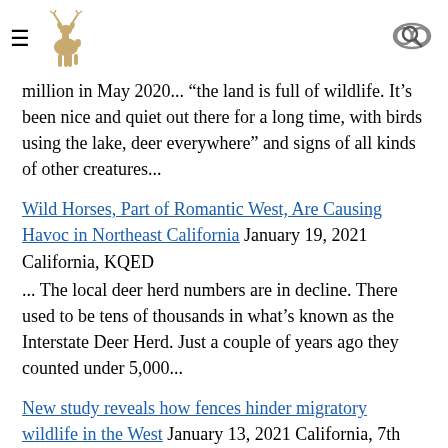[hamburger menu] [deer logo] [search icon]
million in May 2020... “the land is full of wildlife. It’s been nice and quiet out there for a long time, with birds using the lake, deer everywhere” and signs of all kinds of other creatures...
Wild Horses, Part of Romantic West, Are Causing Havoc in Northeast California January 19, 2021 California, KQED
... The local deer herd numbers are in decline. There used to be tens of thousands in what's known as the Interstate Deer Herd. Just a couple of years ago they counted under 5,000...
New study reveals how fences hinder migratory wildlife in the West January 13, 2021 California, 7th Space
... wildlife biologists at the University of California, Berkeley combined GPS location data of tagged mule